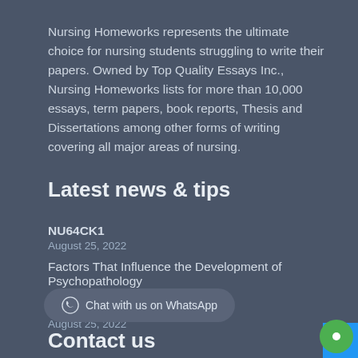Nursing Homeworks represents the ultimate choice for nursing students struggling to write their papers. Owned by Top Quality Essays Inc., Nursing Homeworks lists for more than 10,000 essays, term papers, book reports, Thesis and Dissertations among other forms of writing covering all major areas of nursing.
Latest news & tips
NU64CK1
August 25, 2022
Factors That Influence the Development of Psychopathology
August 25, 2022
reply to dissussion question
August 25, 2022
Chat with us on WhatsApp
Contact us